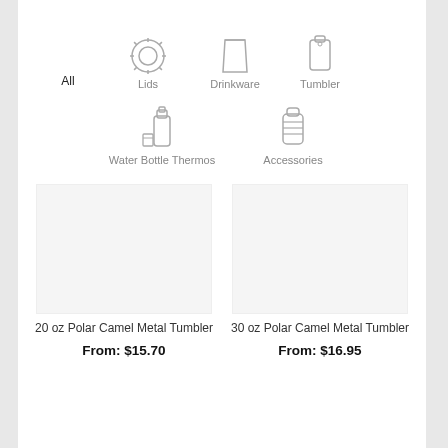All
[Figure (illustration): Lids icon - gear/lid shape]
Lids
[Figure (illustration): Drinkware icon - cup shape]
Drinkware
[Figure (illustration): Tumbler icon - tumbler bottle]
Tumbler
[Figure (illustration): Water Bottle Thermos icon]
Water Bottle Thermos
[Figure (illustration): Accessories icon - shaker bottle]
Accessories
20 oz Polar Camel Metal Tumbler
From: $15.70
30 oz Polar Camel Metal Tumbler
From: $16.95